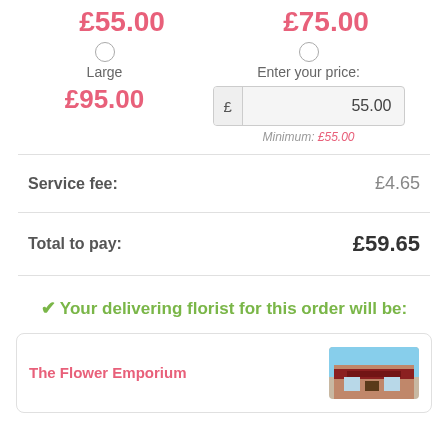£55.00  £75.00
Large
Enter your price:
£95.00
55.00
Minimum: £55.00
Service fee:  £4.65
Total to pay:  £59.65
✔ Your delivering florist for this order will be:
The Flower Emporium